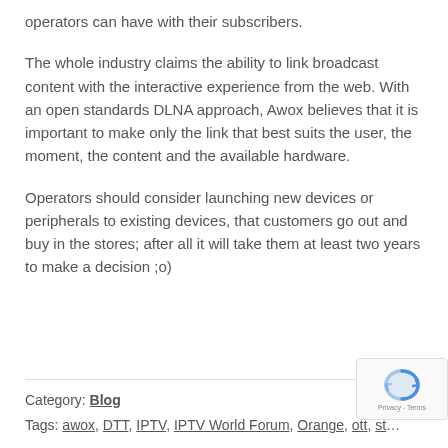operators can have with their subscribers.
The whole industry claims the ability to link broadcast content with the interactive experience from the web. With an open standards DLNA approach, Awox believes that it is important to make only the link that best suits the user, the moment, the content and the available hardware.
Operators should consider launching new devices or peripherals to existing devices, that customers go out and buy in the stores; after all it will take them at least two years to make a decision ;o)
Category: Blog
Tags: awox, DTT, IPTV, IPTV World Forum, Orange, ott, st…